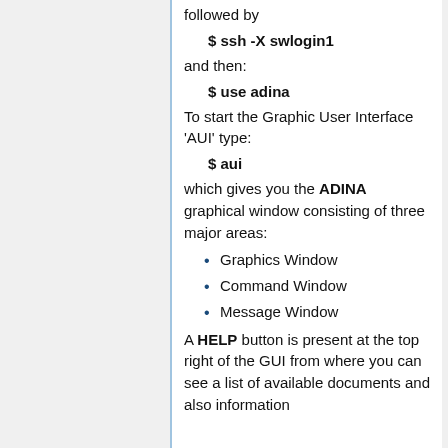followed by
$ ssh -X swlogin1
and then:
$ use adina
To start the Graphic User Interface 'AUI' type:
$ aui
which gives you the ADINA graphical window consisting of three major areas:
Graphics Window
Command Window
Message Window
A HELP button is present at the top right of the GUI from where you can see a list of available documents and also information